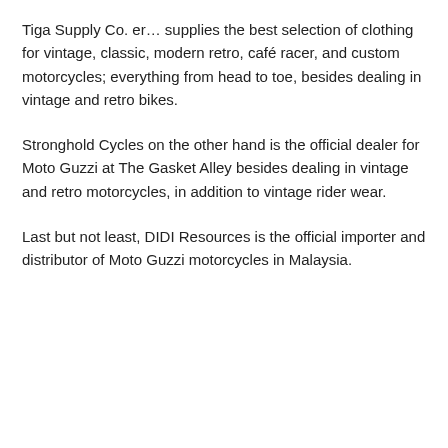Tiga Supply Co. er… supplies the best selection of clothing for vintage, classic, modern retro, café racer, and custom motorcycles; everything from head to toe, besides dealing in vintage and retro bikes.
Stronghold Cycles on the other hand is the official dealer for Moto Guzzi at The Gasket Alley besides dealing in vintage and retro motorcycles, in addition to vintage rider wear.
Last but not least, DIDI Resources is the official importer and distributor of Moto Guzzi motorcycles in Malaysia.